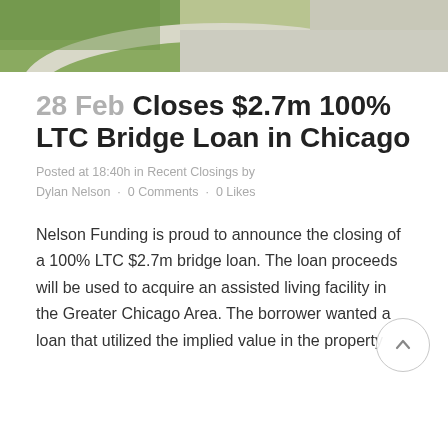[Figure (photo): Partial photo of an outdoor area showing grass, a curved concrete curb, and a roadway/parking area — cropped at the top of the page]
28 Feb Closes $2.7m 100% LTC Bridge Loan in Chicago
Posted at 18:40h in Recent Closings by Dylan Nelson · 0 Comments · 0 Likes
Nelson Funding is proud to announce the closing of a 100% LTC $2.7m bridge loan. The loan proceeds will be used to acquire an assisted living facility in the Greater Chicago Area. The borrower wanted a loan that utilized the implied value in the property